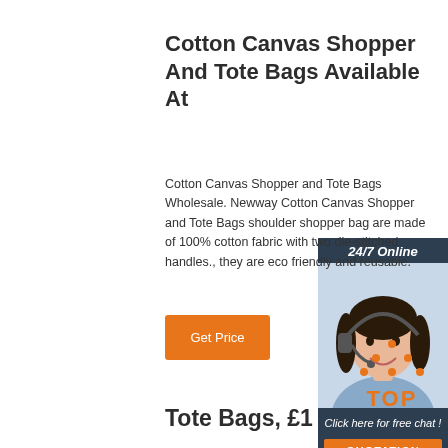Cotton Canvas Shopper And Tote Bags Available At
[Figure (photo): Customer service representative chat widget with '24/7 Online' header, photo of a woman with headset, 'Click here for free chat!' text, and a QUOTATION button]
Cotton Canvas Shopper and Tote Bags Wholesale. Newway Cotton Canvas Shopper and Tote Bags shoulder shopper bag are made of 100% cotton fabric with two die-stitched handles., they are eco friendly and reusable.
[Figure (other): Orange and white TOP back-to-top navigation button with dotted arrow triangle]
Tote Bags, £1